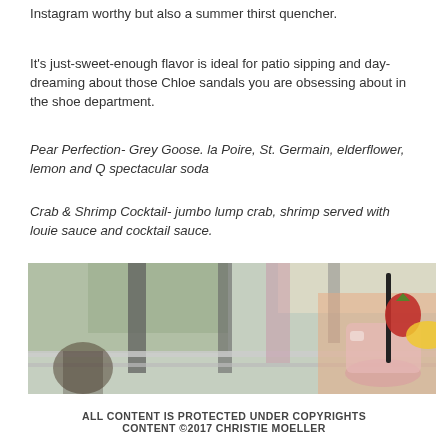Instagram worthy but also a summer thirst quencher.
It's just-sweet-enough flavor is ideal for patio sipping and day-dreaming about those Chloe sandals you are obsessing about in the shoe department.
Pear Perfection- Grey Goose. la Poire, St. Germain, elderflower, lemon and Q spectacular soda
Crab & Shrimp Cocktail- jumbo lump crab, shrimp served with louie sauce and cocktail sauce.
[Figure (photo): Outdoor patio scene with a pink cocktail drink garnished with a strawberry and lemon slice, with a black straw, set against a blurred restaurant patio background.]
ALL CONTENT IS PROTECTED UNDER COPYRIGHTS CONTENT ©2017 CHRISTIE MOELLER